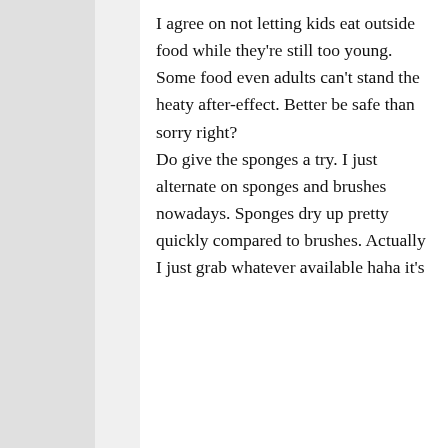I agree on not letting kids eat outside food while they're still too young. Some food even adults can't stand the heaty after-effect. Better be safe than sorry right? Do give the sponges a try. I just alternate on sponges and brushes nowadays. Sponges dry up pretty quickly compared to brushes. Actually I just grab whatever available haha it's